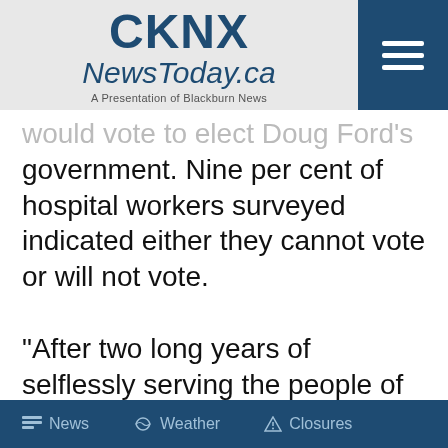CKNX NewsToday.ca — A Presentation of Blackburn News
would vote to elect Doug Ford's government. Nine per cent of hospital workers surveyed indicated either they cannot vote or will not vote.
“After two long years of selflessly serving the people of Ontario in our hospitals during a crushing pandemic, staff rejected an offer
News  Weather  Closures